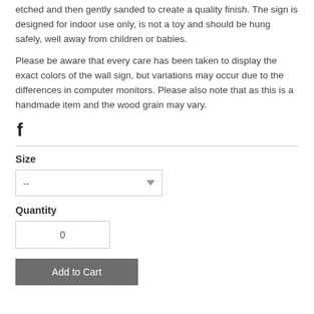etched and then gently sanded to create a quality finish. The sign is designed for indoor use only, is not a toy and should be hung safely, well away from children or babies.
Please be aware that every care has been taken to display the exact colors of the wall sign, but variations may occur due to the differences in computer monitors. Please also note that as this is a handmade item and the wood grain may vary.
[Figure (logo): Facebook social media icon]
Size
[Figure (other): Size dropdown selector showing '--' with a downward arrow]
Quantity
[Figure (other): Quantity input box showing '0']
[Figure (other): Add to Cart button]